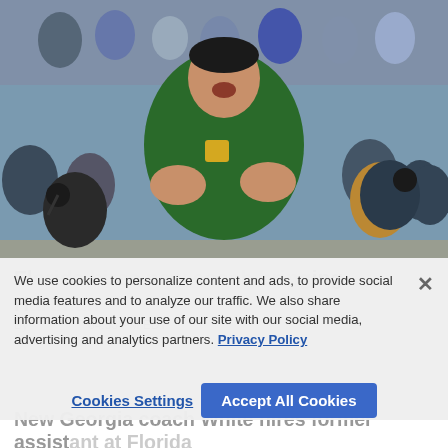[Figure (photo): A basketball coach in a green jacket clapping and shouting on the sideline, with crowd in the background]
Florida hires new coaching staff including Hartman
By [author] · 04:53 PM EDT
We use cookies to personalize content and ads, to provide social media features and to analyze our traffic. We also share information about your use of our site with our social media, advertising and analytics partners. Privacy Policy
Cookies Settings
Accept All Cookies
New Georgia coach White hires former assistant at Florida